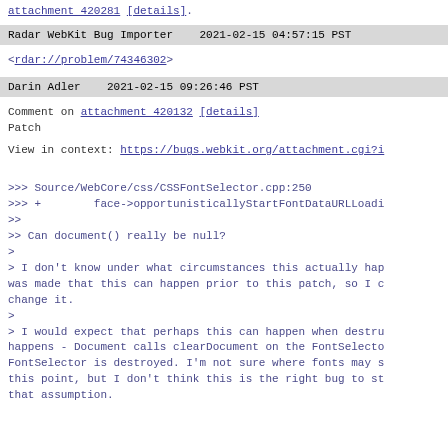attachment 420281 [details].
Radar WebKit Bug Importer   2021-02-15 04:57:15 PST
<rdar://problem/74346302>
Darin Adler   2021-02-15 09:26:46 PST
Comment on attachment 420132 [details]
Patch
View in context: https://bugs.webkit.org/attachment.cgi?i
>>> Source/WebCore/css/CSSFontSelector.cpp:250
>>> +        face->opportunisticallyStartFontDataURLLoadi
>>
>> Can document() really be null?
>
> I don't know under what circumstances this actually hap
was made that this can happen prior to this patch, so I c
change it.
>
> I would expect that perhaps this can happen when destru
happens - Document calls clearDocument on the FontSelecto
FontSelector is destroyed. I'm not sure where fonts may s
this point, but I don't think this is the right bug to st
that assumption.